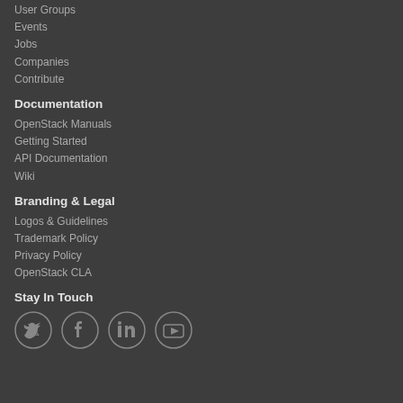User Groups
Events
Jobs
Companies
Contribute
Documentation
OpenStack Manuals
Getting Started
API Documentation
Wiki
Branding & Legal
Logos & Guidelines
Trademark Policy
Privacy Policy
OpenStack CLA
Stay In Touch
[Figure (infographic): Social media icons: Twitter, Facebook, LinkedIn, YouTube]